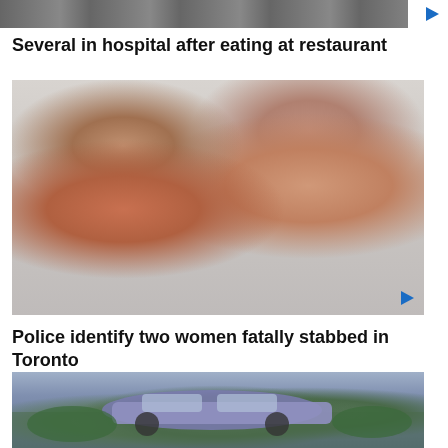[Figure (photo): Partial top of a news story image showing a building or outdoor scene, cropped at top of page]
Several in hospital after eating at restaurant
[Figure (photo): Two Asian women smiling and making a heart shape with their hands, one older with light brown hair and one younger with dark hair]
Police identify two women fatally stabbed in Toronto
[Figure (photo): Outdoor scene with a car and green shrubbery, partial image cropped at bottom of page]